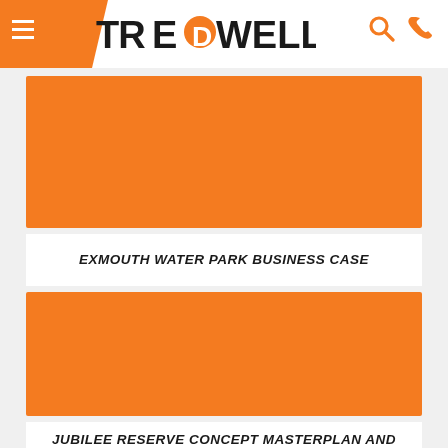TREDWELL
[Figure (photo): Orange placeholder image for Exmouth Water Park Business Case project]
EXMOUTH WATER PARK BUSINESS CASE
[Figure (photo): Orange placeholder image for Jubilee Reserve Concept Masterplan and Building Design project]
JUBILEE RESERVE CONCEPT MASTERPLAN AND BUILDING DESIGN